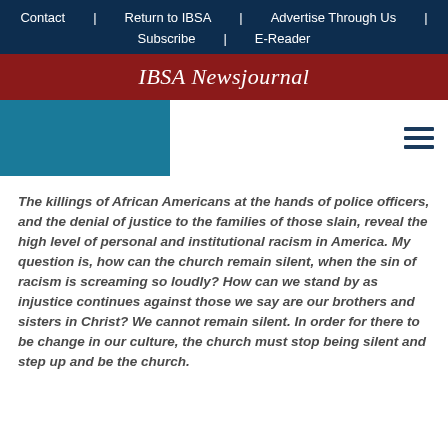Contact | Return to IBSA | Advertise Through Us | Subscribe | E-Reader
IBSA Newsjournal
[Figure (other): Teal/blue decorative header block on the left side with a hamburger menu icon on the right]
The killings of African Americans at the hands of police officers, and the denial of justice to the families of those slain, reveal the high level of personal and institutional racism in America. My question is, how can the church remain silent, when the sin of racism is screaming so loudly? How can we stand by as injustice continues against those we say are our brothers and sisters in Christ? We cannot remain silent. In order for there to be change in our culture, the church must stop being silent and step up and be the church.